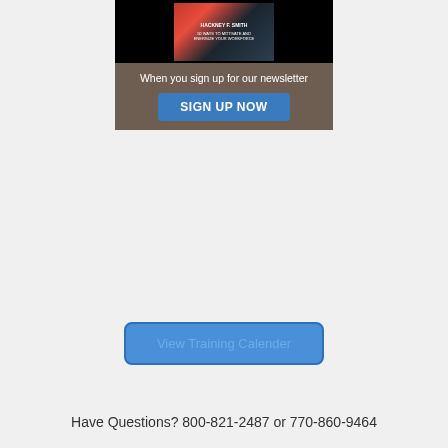[Figure (illustration): Book cover with dark background showing a book titled with '50 Ways to Motivate and Energize Your Workforce' by Hackney F. Smith, displayed on a black background]
When you sign up for our newsletter
SIGN UP NOW
View Training Calender
Have Questions? 800-821-2487 or 770-860-9464